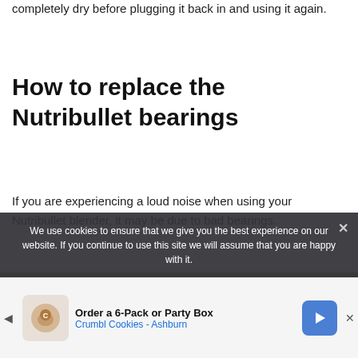completely dry before plugging it back in and using it again.
How to replace the Nutribullet bearings
If you are experiencing a loud noise when using your Nutribullet blender, it may be due to bad bearings.
We use cookies to ensure that we give you the best experience on our website. If you continue to use this site we will assume that you are happy with it.
[Figure (photo): Advertisement banner for Crumbl Cookies - Ashburn: Order a 6-Pack or Party Box]